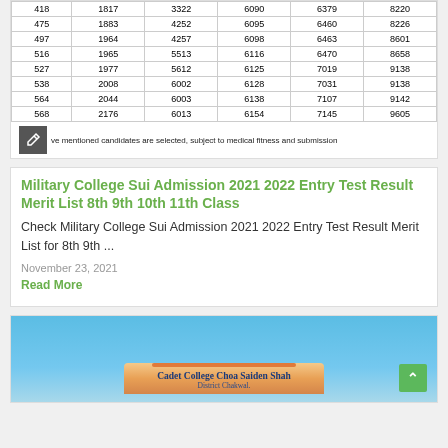| 418 | 1817 | 3322 | 6090 | 6379 | 8220 |
| 475 | 1883 | 4252 | 6095 | 6460 | 8226 |
| 497 | 1964 | 4257 | 6098 | 6463 | 8601 |
| 516 | 1965 | 5513 | 6116 | 6470 | 8658 |
| 527 | 1977 | 5612 | 6125 | 7019 | 9138 |
| 538 | 2008 | 6002 | 6128 | 7031 | 9138 |
| 564 | 2044 | 6003 | 6138 | 7107 | 9142 |
| 568 | 2176 | 6013 | 6154 | 7145 | 9605 |
Note: The above mentioned candidates are selected, subject to medical fitness and submission
Military College Sui Admission 2021 2022 Entry Test Result Merit List 8th 9th 10th 11th Class
Check Military College Sui Admission 2021 2022 Entry Test Result Merit List for 8th 9th ...
November 23, 2021
Read More
[Figure (photo): Cadet College Choa Saiden Shah, District Chakwal building signboard photo with blue sky background]